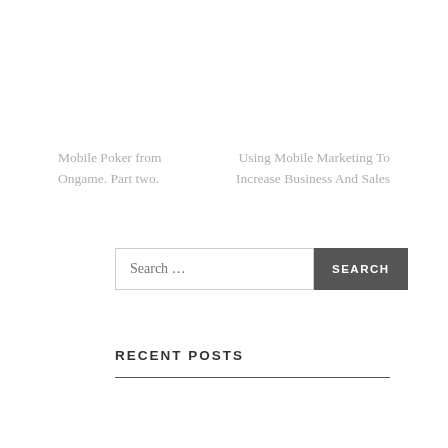Mobile Poker from Ongame. Part two.
Using Mobile Marketing To Increase Business And Sales
Search ...
RECENT POSTS